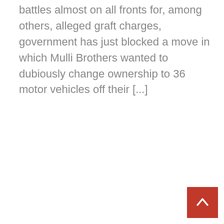battles almost on all fronts for, among others, alleged graft charges, government has just blocked a move in which Mulli Brothers wanted to dubiously change ownership to 36 motor vehicles off their [...]
[Figure (photo): Photo of President Chakwera speaking at a podium against a red background, wearing a dark suit and red tie]
Chakwera calls for regulation of church teachings to protect women from libidinous pastors
In: National  /  With: 0 Comments
President Dr. Lazarus McCarthy Chakwera has called for the regulation of some religious teachings and practices to protect women and girls from